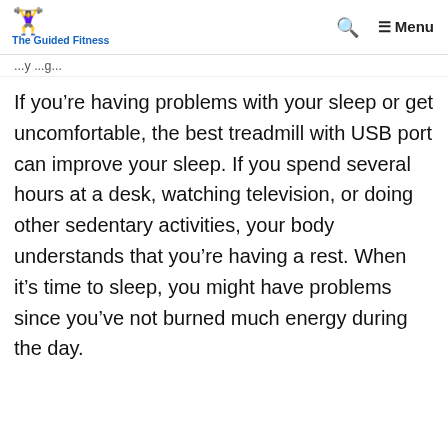The Guided Fitness | Menu
...y ...g...
If you’re having problems with your sleep or get uncomfortable, the best treadmill with USB port can improve your sleep. If you spend several hours at a desk, watching television, or doing other sedentary activities, your body understands that you’re having a rest. When it’s time to sleep, you might have problems since you’ve not burned much energy during the day. However, with treadmill...